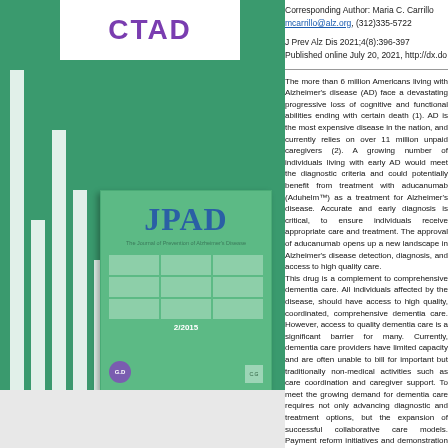[Figure (logo): CTAD logo in purple on white background]
[Figure (illustration): JPAD journal cover on green background with white vertical bars]
Corresponding Author: Maria C. Carrillo mcarrillo@alz.org, (312)335-5722
J Prev Alz Dis 2021;4(8):396-397
Published online July 20, 2021, http://dx.do
The more than 6 million Americans living with Alzheimer's disease (AD) face a devastating progressive loss of cognitive and functional abilities ending with certain death (1). AD is the most expensive disease in the nation, and currently relies on over 11 million unpaid caregivers (2). A growing number of individuals living with early AD would meet the diagnostic criteria and could potentially benefit from treatment with aducanumab (Aduhelm™) as a treatment for Alzheimer's disease. Accurate and early diagnosis is critical, to ensure individuals receive appropriate care and treatment. The approval of aducanumab opens up a new landscape in Alzheimer's disease detection, diagnosis, and access to high quality care. This drug is a complement to comprehensive dementia care. All individuals affected by the disease, should have access to high quality, coordinated, comprehensive dementia care. However, access to quality dementia care is a significant barrier for many. Currently, dementia care providers have limited capacity and are often unable to bill for important but traditionally non-medical activities such as care coordination and caregiver support. To meet the growing demand for dementia care requires not only advancing diagnostic and treatment options, but the expansion of successful collaborative care models. Payment reform initiatives and demonstration for individuals with dementia have resulted in calls to shift away from the traditional fee-for-service payment structure to value-based payment (VBP) models. Currently the Improving Seniors' Timely Access to Care for Alzheimer's Act (S. 1125/H.R.